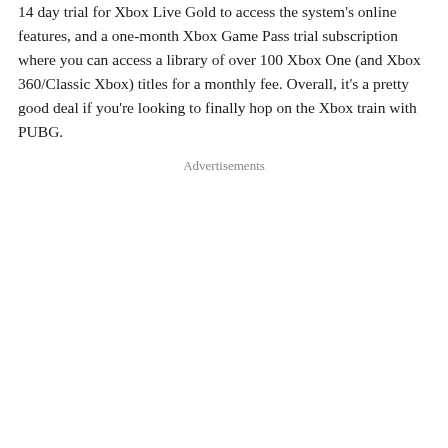14 day trial for Xbox Live Gold to access the system's online features, and a one-month Xbox Game Pass trial subscription where you can access a library of over 100 Xbox One (and Xbox 360/Classic Xbox) titles for a monthly fee. Overall, it's a pretty good deal if you're looking to finally hop on the Xbox train with PUBG.
Advertisements